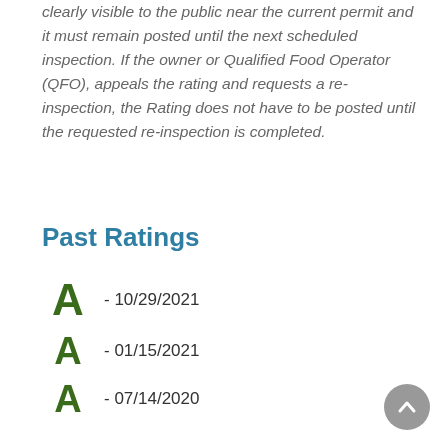clearly visible to the public near the current permit and it must remain posted until the next scheduled inspection. If the owner or Qualified Food Operator (QFO), appeals the rating and requests a re-inspection, the Rating does not have to be posted until the requested re-inspection is completed.
Past Ratings
A - 10/29/2021
A - 01/15/2021
A - 07/14/2020